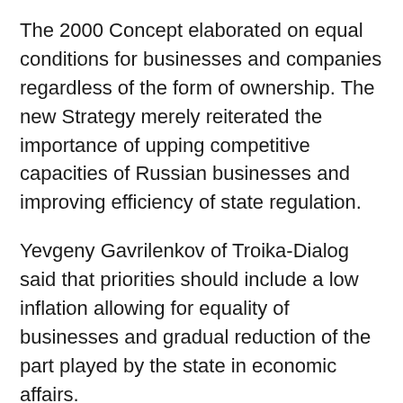The 2000 Concept elaborated on equal conditions for businesses and companies regardless of the form of ownership. The new Strategy merely reiterated the importance of upping competitive capacities of Russian businesses and improving efficiency of state regulation.
Yevgeny Gavrilenkov of Troika-Dialog said that priorities should include a low inflation allowing for equality of businesses and gradual reduction of the part played by the state in economic affairs.
Economic objectives as listed by the new document included making Russia the country with the 5th largest GDP (it is the 8th largest, these days).
The United States and NATO were recognized as the major external threats to Russia, frequently mentioned in the